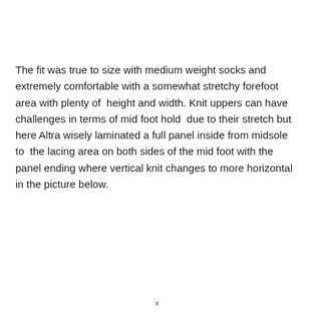The fit was true to size with medium weight socks and extremely comfortable with a somewhat stretchy forefoot area with plenty of  height and width. Knit uppers can have challenges in terms of mid foot hold  due to their stretch but here Altra wisely laminated a full panel inside from midsole to  the lacing area on both sides of the mid foot with the panel ending where vertical knit changes to more horizontal in the picture below.
x